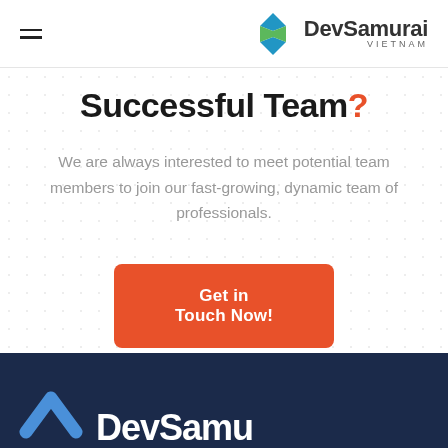DevSamurai VIETNAM
Successful Team?
We are always interested to meet potential team members to join our fast-growing, dynamic team of professionals.
Get in Touch Now!
[Figure (logo): DevSamurai Vietnam logo in footer on dark navy background with chevron icon and company name text]